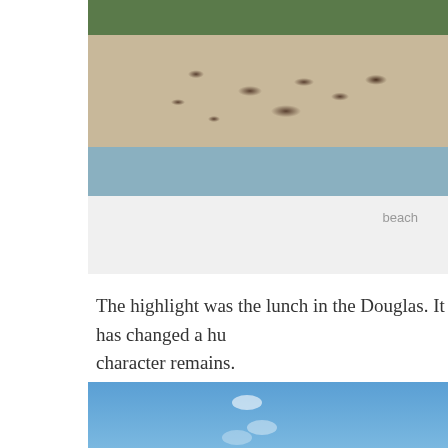[Figure (photo): A sandy beach with dark patches of seaweed/debris along the shoreline, with green vegetation visible at top and water to the right side.]
beach
The highlight was the lunch in the Douglas. It has changed a hu character remains.
[Figure (photo): Blue sky with light clouds, partial view of an outdoor scene.]